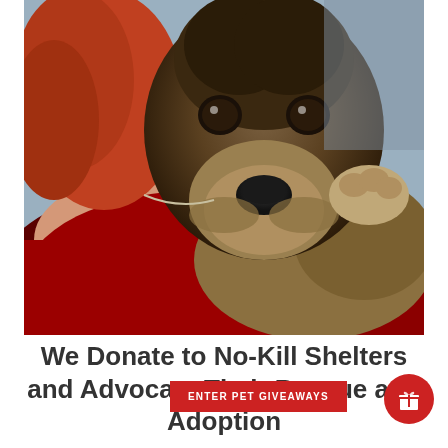[Figure (photo): Close-up photo of a German Shepherd puppy resting its head and paw on the shoulder of a person wearing a red top. The puppy has brown and black fur with expressive dark eyes looking directly at the camera.]
We Donate to No-Kill Shelters and Advocate Their Rescue and Adoption